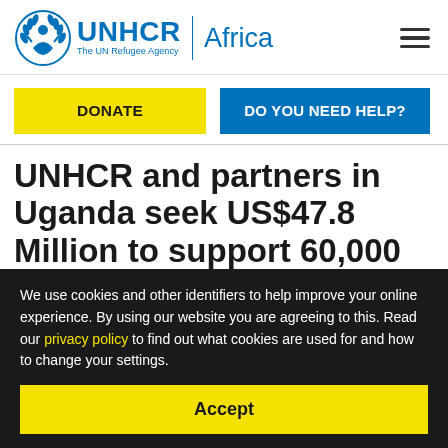UNHCR | Africa
DONATE
DO YOU NEED HELP?
UNHCR and partners in Uganda seek US$47.8 Million to support 60,000 refugees fleeing violence in
We use cookies and other identifiers to help improve your online experience. By using our website you are agreeing to this. Read our privacy policy to find out what cookies are used for and how to change your settings.
Accept